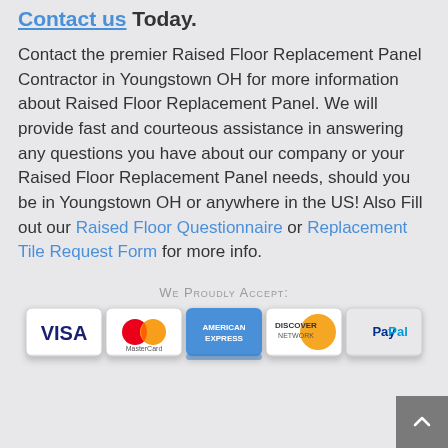Contact us Today.
Contact the premier Raised Floor Replacement Panel Contractor in Youngstown OH for more information about Raised Floor Replacement Panel. We will provide fast and courteous assistance in answering any questions you have about our company or your Raised Floor Replacement Panel needs, should you be in Youngstown OH or anywhere in the US! Also Fill out our Raised Floor Questionnaire or Replacement Tile Request Form for more info.
[Figure (logo): Payment method logos: Visa, MasterCard, American Express, Discover Network, PayPal]